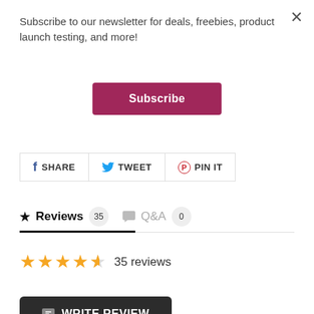Subscribe to our newsletter for deals, freebies, product launch testing, and more!
Subscribe
SHARE  TWEET  PIN IT
Reviews  35    Q&A  0
35 reviews
WRITE REVIEW